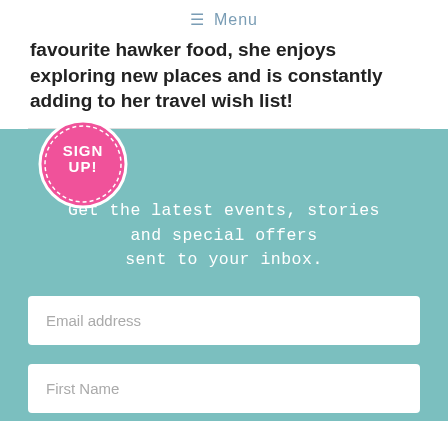≡ Menu
favourite hawker food, she enjoys exploring new places and is constantly adding to her travel wish list!
[Figure (infographic): Teal background signup section with a pink circular badge reading SIGN UP! and text: Get the latest events, stories and special offers sent to your inbox. Below are two input fields: Email address and First Name, and a partial third field.]